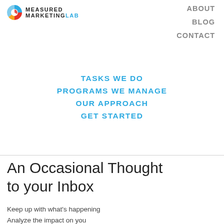[Figure (logo): Measured Marketing Lab logo: pie chart icon with blue, red, yellow, green segments, followed by MEASURED MARKETINGLAB text]
ABOUT   BLOG   CONTACT
TASKS WE DO
PROGRAMS WE MANAGE
OUR APPROACH
GET STARTED
An Occasional Thought to your Inbox
Keep up with what's happening
Analyze the impact on you